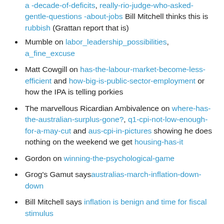a-decade-of-deficits, really-rio-judge-who-asked-gentle-questions-about-jobs Bill Mitchell thinks this is rubbish (Grattan report that is)
Mumble on labor_leadership_possibilities, a_fine_excuse
Matt Cowgill on has-the-labour-market-become-less-efficient and how-big-is-public-sector-employment or how the IPA is telling porkies
The marvellous Ricardian Ambivalence on where-has-the-australian-surplus-gone?, q1-cpi-not-low-enough-for-a-may-cut and aus-cpi-in-pictures showing he does nothing on the weekend we get housing-has-it
Gordon on winning-the-psychological-game
Grog's Gamut says australias-march-inflation-down-down
Bill Mitchell says inflation is benign and time for fiscal stimulus
Kevin Bonham asks what-is-independent-liberal